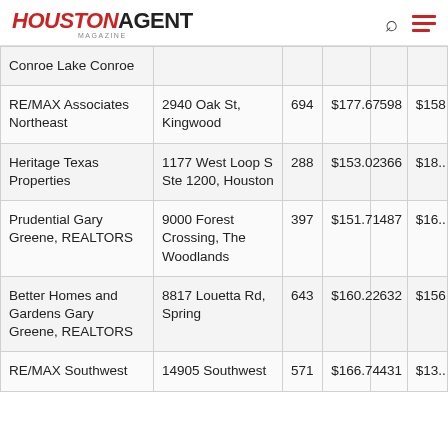HOUSTON AGENT MAGAZINE
| Company | Address | Col3 | Col4 | Col5 | Col6 |
| --- | --- | --- | --- | --- | --- |
| Conroe Lake Conroe |  |  |  |  |  |
| RE/MAX Associates Northeast | 2940 Oak St, Kingwood | 694 | $177.67 | 598 | $158 |
| Heritage Texas Properties | 1177 West Loop S Ste 1200, Houston | 288 | $153.02 | 366 | $18... |
| Prudential Gary Greene, REALTORS | 9000 Forest Crossing, The Woodlands | 397 | $151.71 | 487 | $16... |
| Better Homes and Gardens Gary Greene, REALTORS | 8817 Louetta Rd, Spring | 643 | $160.22 | 632 | $156 |
| RE/MAX Southwest | 14905 Southwest | 571 | $166.74 | 431 | $13... |